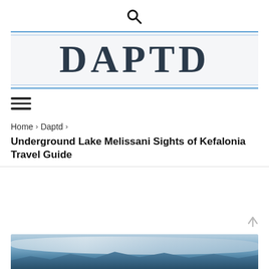[Figure (other): Search magnifying glass icon centered at top of page]
[Figure (logo): DAPTD website logo in large serif bold font on light grey background with blue horizontal border lines]
[Figure (other): Hamburger menu icon with three horizontal lines]
Home > Daptd >
Underground Lake Melissani Sights of Kefalonia Travel Guide
[Figure (photo): Partial photo of mountainous landscape with blue sky and clouds, likely a Greek island coastal scene]